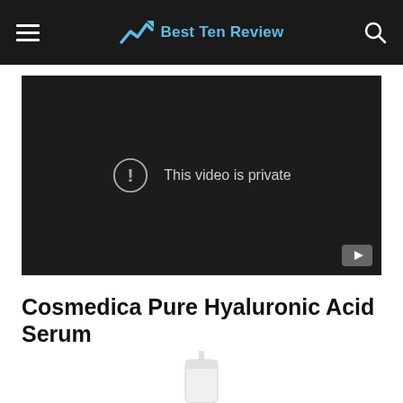Best Ten Review
[Figure (screenshot): Video player showing 'This video is private' message with warning icon and YouTube button in bottom right corner]
Cosmedica Pure Hyaluronic Acid Serum
[Figure (photo): Partial image of a white pump bottle product (Cosmedica Pure Hyaluronic Acid Serum)]